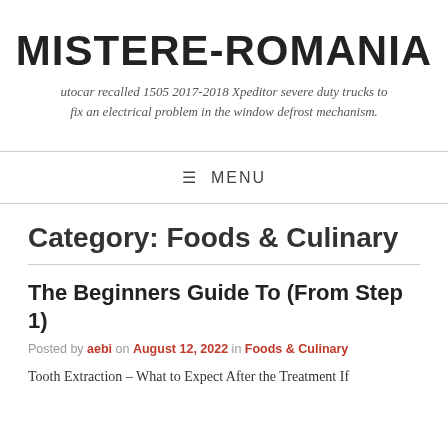MISTERE-ROMANIA
utocar recalled 1505 2017-2018 Xpeditor severe duty trucks to fix an electrical problem in the window defrost mechanism.
☰ MENU
Category: Foods & Culinary
The Beginners Guide To (From Step 1)
Posted by aebi on August 12, 2022 in Foods & Culinary
Tooth Extraction – What to Expect After the Treatment If